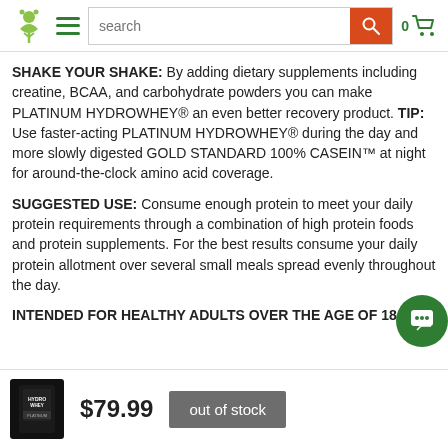[Figure (screenshot): Website header with green leaf logo, hamburger menu, search bar with orange search button, and cart icon showing 0 items]
SHAKE YOUR SHAKE: By adding dietary supplements including creatine, BCAA, and carbohydrate powders you can make PLATINUM HYDROWHEY® an even better recovery product. TIP: Use faster-acting PLATINUM HYDROWHEY® during the day and more slowly digested GOLD STANDARD 100% CASEIN™ at night for around-the-clock amino acid coverage.
SUGGESTED USE: Consume enough protein to meet your daily protein requirements through a combination of high protein foods and protein supplements. For the best results consume your daily protein allotment over several small meals spread evenly throughout the day.
INTENDED FOR HEALTHY ADULTS OVER THE AGE OF 18.
[Figure (photo): Product thumbnail image of Platinum Hydrowhey supplement container with price $79.99 and out of stock button]